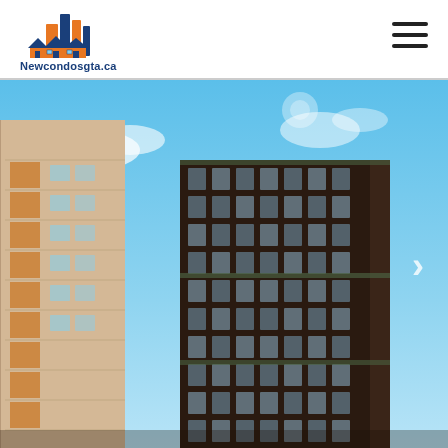[Figure (logo): Newcondosgta.ca logo featuring stylized buildings and houses in orange and blue with text 'Newcondosgta.ca' below]
[Figure (photo): Architectural rendering of a tall dark modern condo tower with glass facade against a blue sky, with a beige residential building visible on the left side. A right-arrow navigation control is visible on the right edge.]